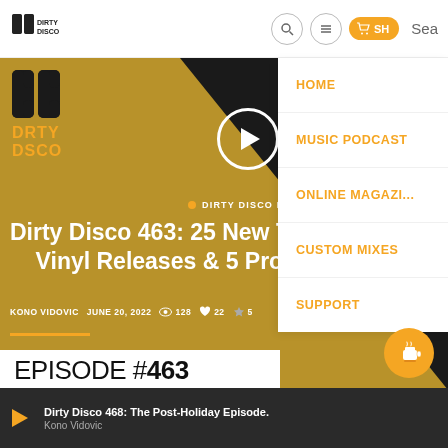[Figure (screenshot): Dirty Disco website screenshot showing navigation bar with logo, search, menu, shop icons and a dropdown navigation menu with HOME, MUSIC PODCAST, ONLINE MAGAZINE, CUSTOM MIXES, SUPPORT. Main content shows episode 463 hero image with gold/black background, play button, Dirty Disco logo, episode title 'Dirty Disco 463: 25 New Tracks, Vinyl Releases & 5 Promo', author Kono Vidovic, date June 20 2022, stats 128 views 22 likes 5 stars, Episode #463 label, and bottom player bar showing Dirty Disco 468 The Post-Holiday Episode by Kono Vidovic.]